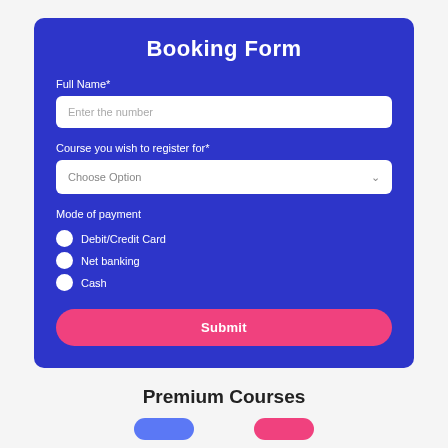Booking Form
Full Name*
Enter the number
Course you wish to register for*
Choose Option
Mode of payment
Debit/Credit Card
Net banking
Cash
Submit
Premium Courses